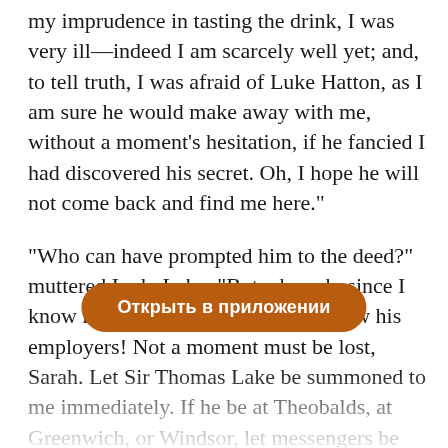my imprudence in tasting the drink, I was very ill—indeed I am scarcely well yet; and, to tell truth, I was afraid of Luke Hatton, as I am sure he would make away with me, without a moment's hesitation, if he fancied I had discovered his secret. Oh, I hope he will not come back and find me here."
"Who can have prompted him to the deed?" muttered Lady Lake. "But why ask, since I know my enemies, and therefore know his employers! Not a moment must be lost, Sarah. Let Sir Thomas Lake be summoned to me immediately. If he be at Theobalds, at Greenwich, or Windsor, let messengers be sent after him, requiring him to recall possible speed. I cannot yet decide what I will do, but it shall be
[Figure (other): Orange rounded button overlay with Russian text 'Открыть в приложении' (Open in app)]